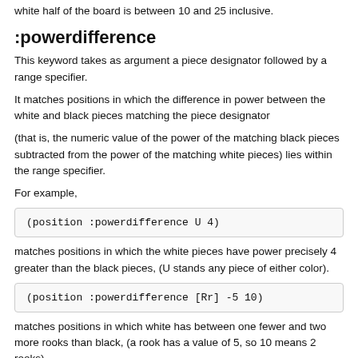white half of the board is between 10 and 25 inclusive.
:powerdifference
This keyword takes as argument a piece designator followed by a range specifier.
It matches positions in which the difference in power between the white and black pieces matching the piece designator
(that is, the numeric value of the power of the matching black pieces subtracted from the power of the matching white pieces) lies within the range specifier.
For example,
(position :powerdifference U 4)
matches positions in which the white pieces have power precisely 4 greater than the black pieces, (U stands any piece of either color).
(position :powerdifference [Rr] -5 10)
matches positions in which white has between one fewer and two more rooks than black, (a rook has a value of 5, so 10 means 2 rooks).
(position :powerdifference [RrBhNp] -1000 -2)